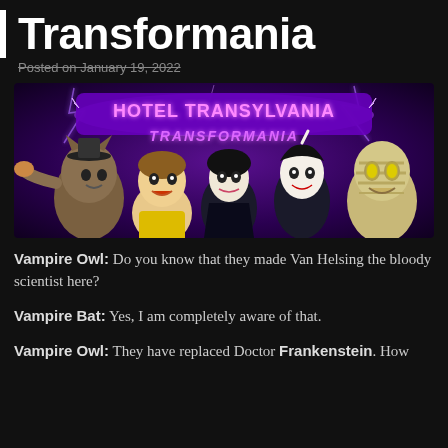Transformania
Posted on January 19, 2022
[Figure (photo): Hotel Transylvania Transformania movie promotional image showing animated characters including a werewolf, a human male, Mavis (vampire female), Dracula, and a mummy against a purple lightning background with the title 'Hotel Transylvania Transformania']
Vampire Owl: Do you know that they made Van Helsing the bloody scientist here?
Vampire Bat: Yes, I am completely aware of that.
Vampire Owl: They have replaced Doctor Frankenstein. How